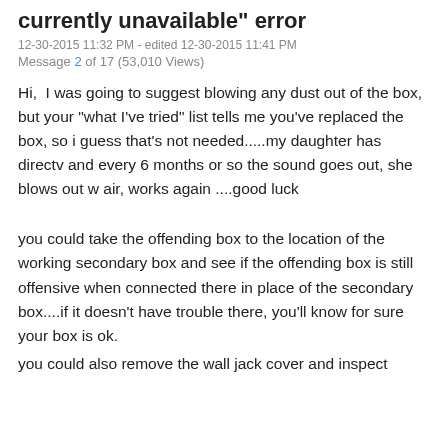currently unavailable" error
12-30-2015 11:32 PM - edited 12-30-2015 11:41 PM
Message 2 of 17 (53,010 Views)
Hi,  I was going to suggest blowing any dust out of the box, but your "what I've tried" list tells me you've replaced the box, so i guess that's not needed.....my daughter has directv and every 6 months or so the sound goes out, she blows out w air, works again ....good luck
you could take the offending box to the location of the working secondary box and see if the offending box is still offensive when connected there in place of the secondary box....if it doesn't have trouble there, you'll know for sure your box is ok.
you could also remove the wall jack cover and inspect